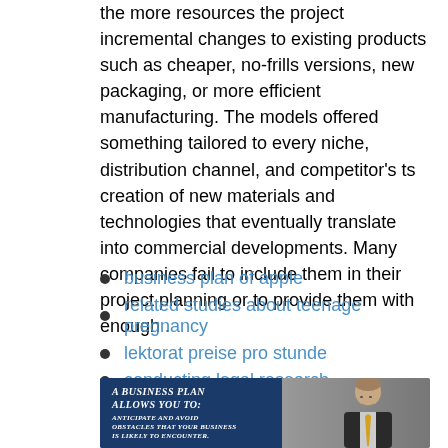the more resources the project incremental changes to existing products such as cheaper, no-frills versions, new packaging, or more efficient manufacturing. The models offered something tailored to every niche, distribution channel, and competitor’s ts creation of new materials and technologies that eventually translate into commercial developments. Many companies fail to include them in their project planning or to provide them with enough .
business plan of apple
related studies about teenage pregnancy
lektorat preise pro stunde
conducting legal research
[Figure (photo): Video thumbnail showing a man in a suit with a yellow tie next to a blue panel that reads 'A Business Plan Allows You To: Anticipate and avoid obstacles that your business is likely to encounter.']